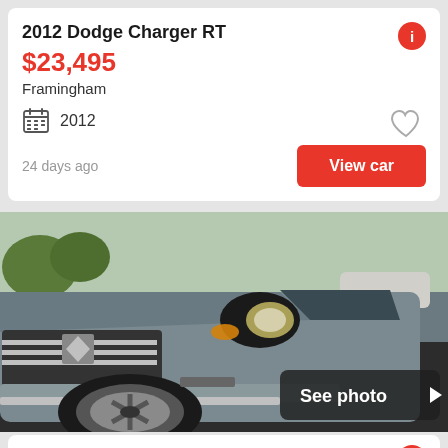2012 Dodge Charger RT
$23,495
Framingham
2012
24 days ago
View car
[Figure (photo): Front view of a grey 2012 Dodge Charger RT parked outside, with a 'See photo' overlay button in the bottom right corner.]
2012 Dodge Charger RT
$11,786